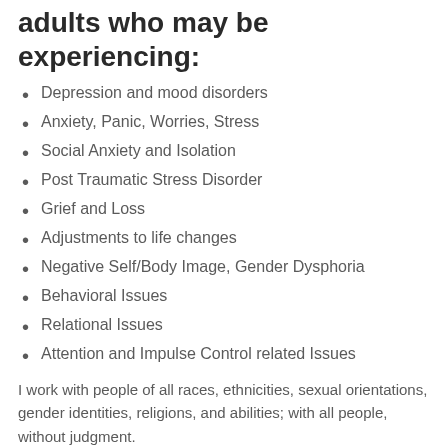adults who may be experiencing:
Depression and mood disorders
Anxiety, Panic, Worries, Stress
Social Anxiety and Isolation
Post Traumatic Stress Disorder
Grief and Loss
Adjustments to life changes
Negative Self/Body Image, Gender Dysphoria
Behavioral Issues
Relational Issues
Attention and Impulse Control related Issues
I work with people of all races, ethnicities, sexual orientations, gender identities, religions, and abilities; with all people, without judgment.
Education